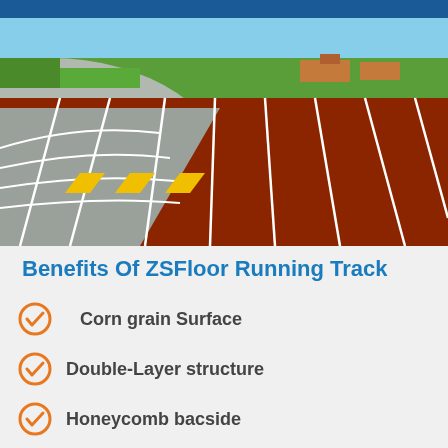[Figure (photo): Aerial/ground-level photo of a red running track with white lane lines, yellow lane markers, and curved gray interior area, with green grass and buildings visible in background]
Benefits Of ZSFloor Running Track
Corn grain Surface
Double-Layer structure
Honeycomb bacside